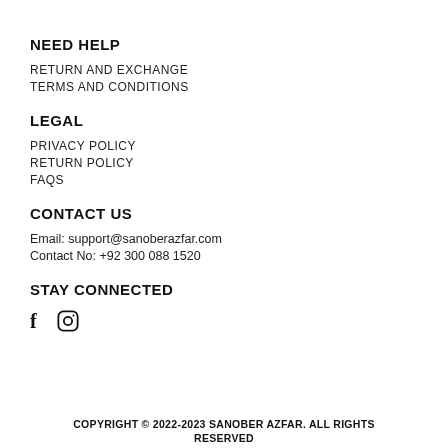NEED HELP
RETURN AND EXCHANGE
TERMS AND CONDITIONS
LEGAL
PRIVACY POLICY
RETURN POLICY
FAQS
CONTACT US
Email: support@sanoberazfar.com
Contact No: +92 300 088 1520
STAY CONNECTED
[Figure (illustration): Facebook and Instagram social media icons]
COPYRIGHT © 2022-2023 SANOBER AZFAR. ALL RIGHTS RESERVED